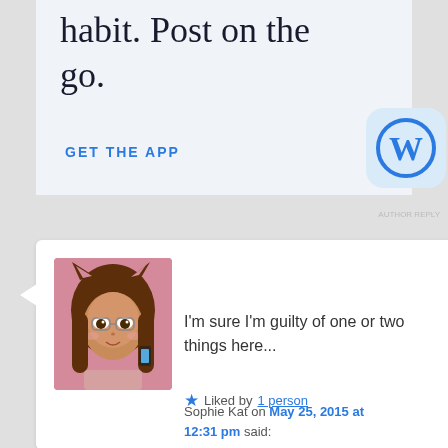habit. Post on the go.
GET THE APP
[Figure (logo): WordPress logo — blue W inside a circle on a light blue rounded square background]
Sophie Kat on May 25, 2015 at 12:31 pm said:
[Figure (illustration): Anime-style illustration of a girl with cat ears, long brown hair, glasses, holding a phone, pink background]
I'm sure I'm guilty of one or two things here...
Liked by 1 person